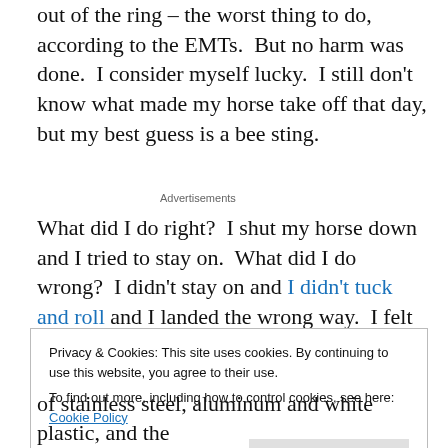out of the ring – the worst thing to do, according to the EMTs.  But no harm was done.  I consider myself lucky.  I still don't know what made my horse take off that day, but my best guess is a bee sting.
Advertisements
What did I do right?  I shut my horse down and I tried to stay on.  What did I do wrong?  I didn't stay on and I didn't tuck and roll and I landed the wrong way.  I felt the
Privacy & Cookies: This site uses cookies. By continuing to use this website, you agree to their use.
To find out more, including how to control cookies, see here: Cookie Policy
Close and accept
of stainless steel, aluminum and white plastic, and the